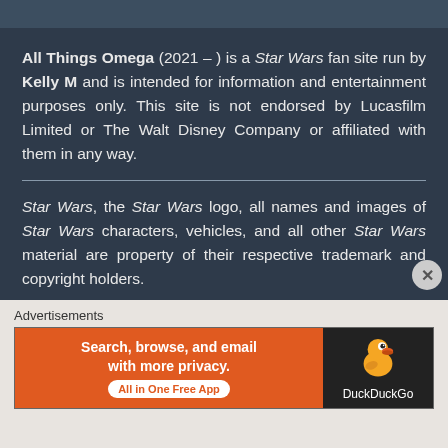All Things Omega (2021 – ) is a Star Wars fan site run by Kelly M and is intended for information and entertainment purposes only. This site is not endorsed by Lucasfilm Limited or The Walt Disney Company or affiliated with them in any way.
Star Wars, the Star Wars logo, all names and images of Star Wars characters, vehicles, and all other Star Wars material are property of their respective trademark and copyright holders.
All original articles were written by Kelly M
Advertisements
[Figure (illustration): DuckDuckGo advertisement banner: orange left panel with text 'Search, browse, and email with more privacy. All in One Free App' and dark right panel with DuckDuckGo duck logo]